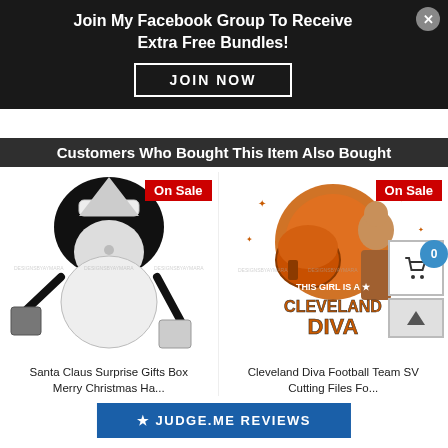Join My Facebook Group To Receive Extra Free Bundles!
JOIN NOW
Customers Who Bought This Item Also Bought
[Figure (illustration): Black and white illustration of Santa Claus with afro hair holding gifts, with 'On Sale' badge. Title: Santa Claus Surprise Gifts Box Merry Christmas Ha...]
[Figure (illustration): Illustration of Cleveland Diva Football Team design with a woman in football gear, orange and brown color scheme, text reads 'THIS GIRL IS A CLEVELAND DIVA', with 'On Sale' badge. Title: Cleveland Diva Football Team SVG Cutting Files Fo...]
★ JUDGE.ME REVIEWS